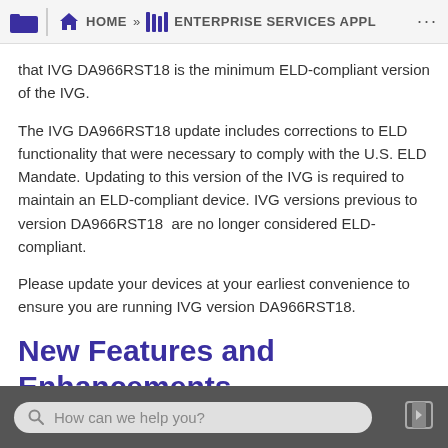HOME » ENTERPRISE SERVICES APPL
that IVG DA966RST18 is the minimum ELD-compliant version of the IVG.
The IVG DA966RST18 update includes corrections to ELD functionality that were necessary to comply with the U.S. ELD Mandate. Updating to this version of the IVG is required to maintain an ELD-compliant device. IVG versions previous to version DA966RST18  are no longer considered ELD-compliant.
Please update your devices at your earliest convenience to ensure you are running IVG version DA966RST18.
New Features and Enhancements
How can we help you?